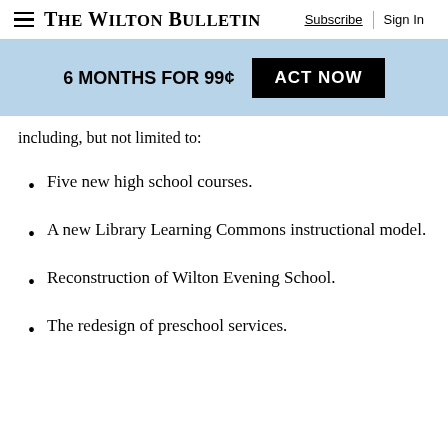The Wilton Bulletin | Subscribe | Sign In
6 MONTHS FOR 99¢ ACT NOW
including, but not limited to:
Five new high school courses.
A new Library Learning Commons instructional model.
Reconstruction of Wilton Evening School.
The redesign of preschool services.